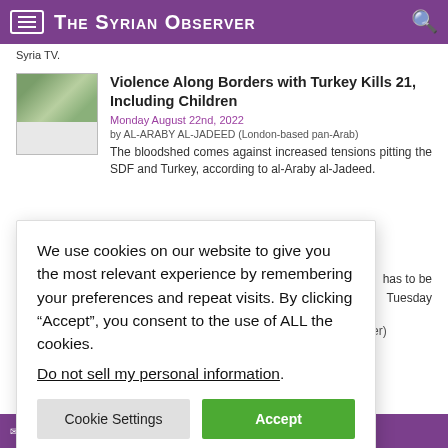The Syrian Observer
Syria TV.
Violence Along Borders with Turkey Kills 21, Including Children
Monday August 22nd, 2022
by AL-ARABY AL-JADEED (London-based pan-Arab)
The bloodshed comes against increased tensions pitting the SDF and Turkey, according to al-Araby al-Jadeed.
We use cookies on our website to give you the most relevant experience by remembering your preferences and repeat visits. By clicking “Accept”, you consent to the use of ALL the cookies.
Do not sell my personal information.
has to be Tuesday
er)
iscussed by , according
cy Towards Syria